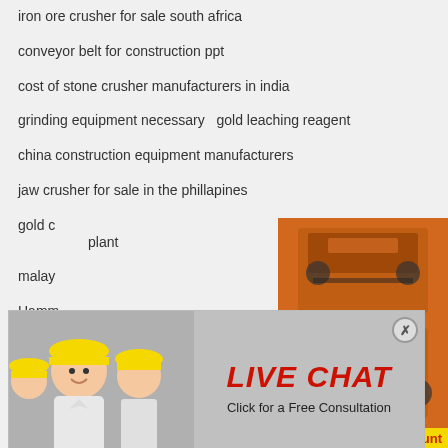iron ore crusher for sale south africa
conveyor belt for construction ppt
cost of stone crusher manufacturers in india
grinding equipment necessary   gold leaching reagent
china construction equipment manufacturers
jaw crusher for sale in the phillapines
gold d... plant
malay...
Hamm...
stone crusher zealand
impact crushers vs cone crusher
iron ore crusher for sale in south africa
portable dolomite jaw crusher manufacturer
glass crushing machine research
crusher produce price
[Figure (screenshot): Orange sidebar with machinery images for a mining equipment company]
Enjoy 3% discount Click to Chat
Enquiry
limingjlmofen@sina.com
[Figure (screenshot): Live chat popup overlay showing workers in hard hats with LIVE CHAT text and Chat now / Chat later buttons]